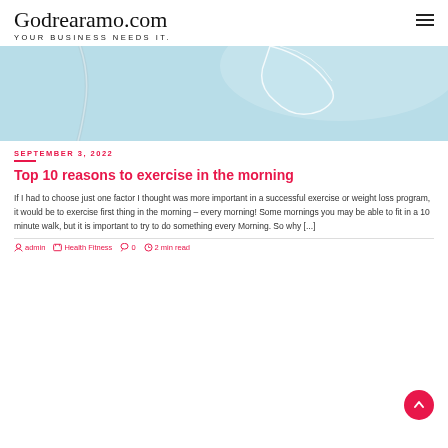Godrearamo.com
YOUR BUSINESS NEEDS IT.
[Figure (photo): Blue background with a partial view of a transparent/glass object in the upper portion of the image]
SEPTEMBER 3, 2022
Top 10 reasons to exercise in the morning
If I had to choose just one factor I thought was more important in a successful exercise or weight loss program, it would be to exercise first thing in the morning – every morning! Some mornings you may be able to fit in a 10 minute walk, but it is important to try to do something every Morning. So why [...]
admin   Health Fitness   0   2 min read